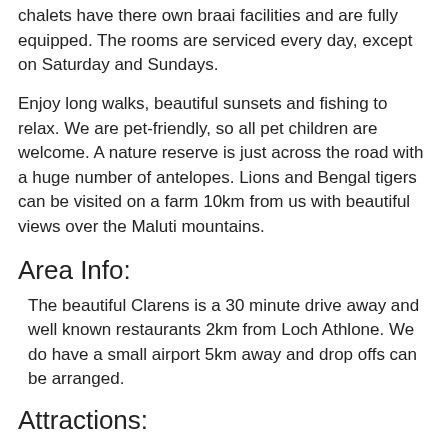chalets have there own braai facilities and are fully equipped. The rooms are serviced every day, except on Saturday and Sundays.
Enjoy long walks, beautiful sunsets and fishing to relax. We are pet-friendly, so all pet children are welcome. A nature reserve is just across the road with a huge number of antelopes. Lions and Bengal tigers can be visited on a farm 10km from us with beautiful views over the Maluti mountains.
Area Info:
The beautiful Clarens is a 30 minute drive away and well known restaurants 2km from Loch Athlone. We do have a small airport 5km away and drop offs can be arranged.
Attractions:
*  Golden Gate Highlands National Park
*  Clarens Brewery